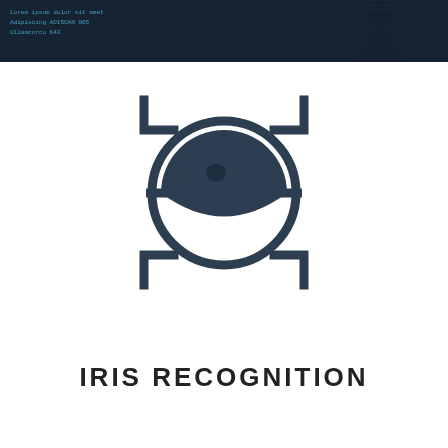[Figure (screenshot): Dark background image with blue text overlay showing lines of text (partly legible as scan/biometric data), and a partial view of what appears to be a human figure silhouette on the right side. This appears to be a banner or header image related to biometric scanning.]
[Figure (logo): Iris recognition icon: a stylized eye with pupil inside a circle, with four corner bracket marks forming a scanning frame around it. The icon is rendered in dark navy/slate color (#2d3e50) on white background.]
IRIS RECOGNITION